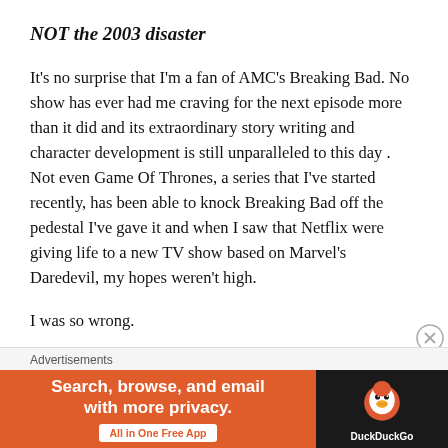NOT the 2003 disaster
It’s no surprise that I’m a fan of AMC’s Breaking Bad. No show has ever had me craving for the next episode more than it did and its extraordinary story writing and character development is still unparalleled to this day . Not even Game Of Thrones, a series that I’ve started recently, has been able to knock Breaking Bad off the pedestal I’ve gave it and when I saw that Netflix were giving life to a new TV show based on Marvel’s Daredevil, my hopes weren’t high.
I was so wrong.
Advertisements
[Figure (other): DuckDuckGo advertisement banner: orange background on left with text 'Search, browse, and email with more privacy. All in One Free App' and DuckDuckGo duck logo on dark right panel.]